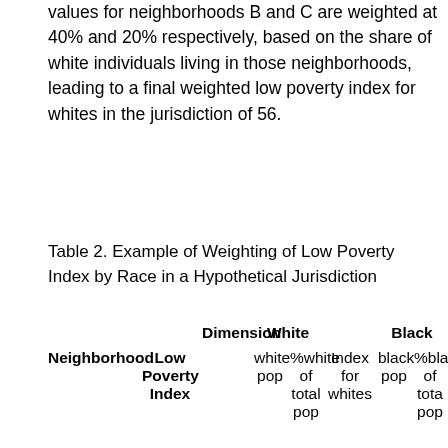values for neighborhoods B and C are weighted at 40% and 20% respectively, based on the share of white individuals living in those neighborhoods, leading to a final weighted low poverty index for whites in the jurisdiction of 56.
Table 2. Example of Weighting of Low Poverty Index by Race in a Hypothetical Jurisdiction
| Neighborhood | Low Poverty Index | Dimension | white pop | % white of total pop | Index for whites | black pop | % black of total pop |
| --- | --- | --- | --- | --- | --- | --- | --- |